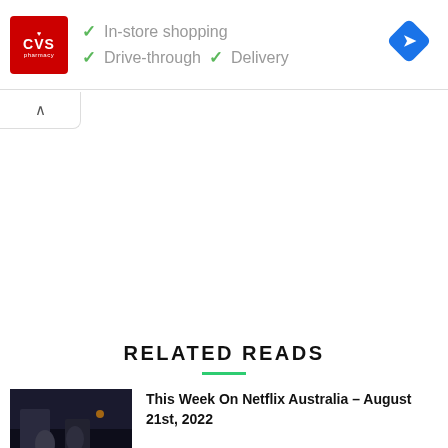[Figure (screenshot): CVS Pharmacy advertisement banner showing logo, checkmarks for In-store shopping, Drive-through, and Delivery, plus a Google Maps navigation icon]
[Figure (screenshot): Collapse/minimize chevron button below ad banner]
RELATED READS
[Figure (photo): Thumbnail image for Netflix Australia article showing two people outdoors at night]
This Week On Netflix Australia – August 21st, 2022